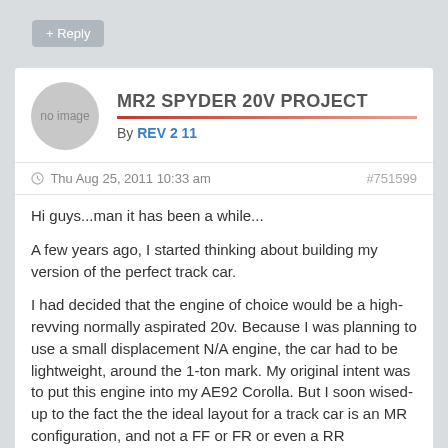+ Reply
MR2 SPYDER 20V PROJECT
By REV 2 11
- Thu Aug 25, 2011 10:33 am   #751599
Hi guys...man it has been a while...
A few years ago, I started thinking about building my version of the perfect track car.
I had decided that the engine of choice would be a high-revving normally aspirated 20v. Because I was planning to use a small displacement N/A engine, the car had to be lightweight, around the 1-ton mark. My original intent was to put this engine into my AE92 Corolla. But I soon wised-up to the fact the the ideal layout for a track car is an MR configuration, and not a FF or FR or even a RR configuration. Another thing I considered was the vehicles parts availability,